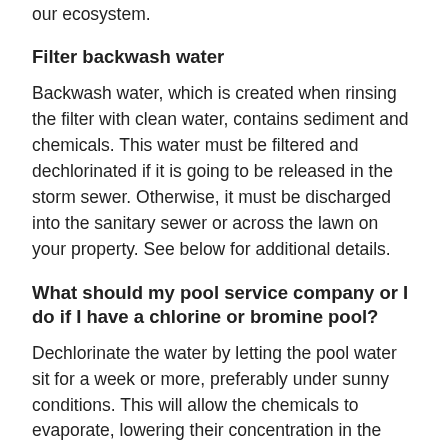our ecosystem.
Filter backwash water
Backwash water, which is created when rinsing the filter with clean water, contains sediment and chemicals. This water must be filtered and dechlorinated if it is going to be released in the storm sewer. Otherwise, it must be discharged into the sanitary sewer or across the lawn on your property. See below for additional details.
What should my pool service company or I do if I have a chlorine or bromine pool?
Dechlorinate the water by letting the pool water sit for a week or more, preferably under sunny conditions. This will allow the chemicals to evaporate, lowering their concentration in the water. Test the pool water to ensure the chlorine or bromine level is below the recommended level.